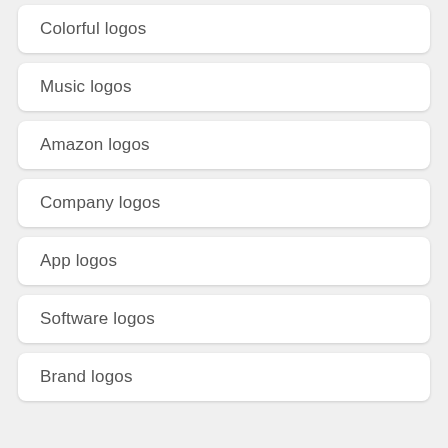Colorful logos
Music logos
Amazon logos
Company logos
App logos
Software logos
Brand logos